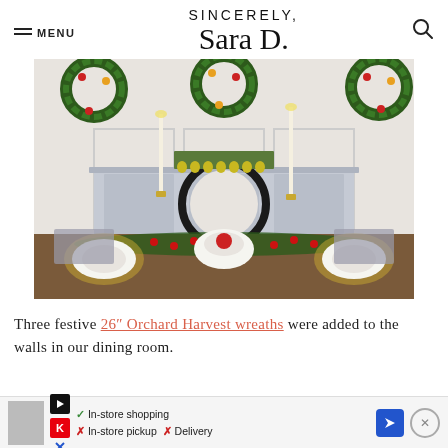SINCERELY, Sara D.
[Figure (photo): Christmas holiday dining room table with festive place settings, tall white candles in gold candlesticks, a round black mirror on a painted white sideboard, and three Orchard Harvest wreaths on the wall behind.]
Three festive 26" Orchard Harvest wreaths were added to the walls in our dining room.
[Figure (infographic): Advertisement banner: In-store shopping (check), In-store pickup (X), Delivery (X), with Kroger logo and navigation arrow icon.]